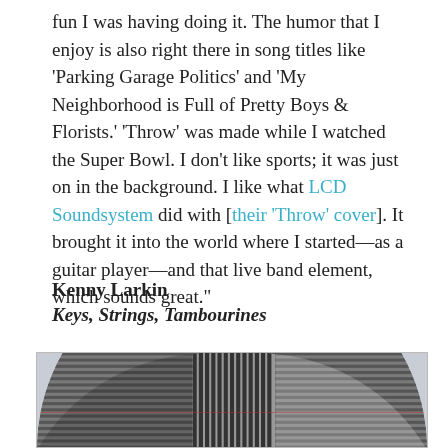fun I was having doing it. The humor that I enjoy is also right there in song titles like ‘Parking Garage Politics’ and ‘My Neighborhood is Full of Pretty Boys & Florists.’ ‘Throw’ was made while I watched the Super Bowl. I don’t like sports; it was just on in the background. I like what LCD Soundsystem did with [their ‘Throw’ cover]. It brought it into the world where I started—as a guitar player—and that live band element, which sounds great.”
Kenny Larkin
Keys, Strings, Tambourines
[Figure (photo): Partial view of a circular vinyl record or disc with alternating dark and light horizontal stripe segments, set against a light grey-blue background.]